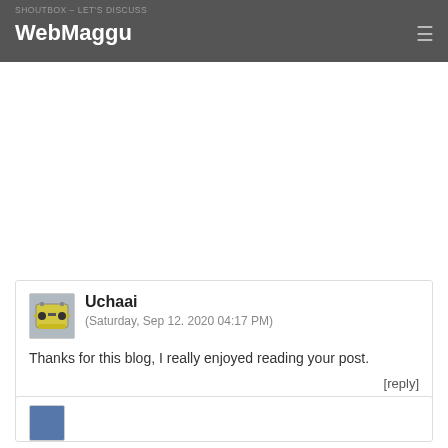SHOUTBOX – LET'S DISCUSS | WebMaggu
Uchaai
(Saturday, Sep 12. 2020 04:17 PM)
Thanks for this blog, I really enjoyed reading your post.
[reply]